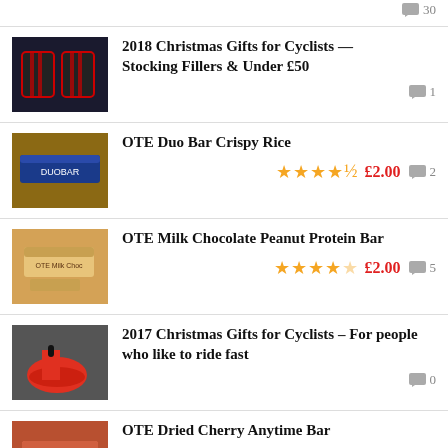30 (comment count, top partial item)
2018 Christmas Gifts for Cyclists — Stocking Fillers & Under £50
OTE Duo Bar Crispy Rice
OTE Milk Chocolate Peanut Protein Bar
2017 Christmas Gifts for Cyclists – For people who like to ride fast
OTE Dried Cherry Anytime Bar